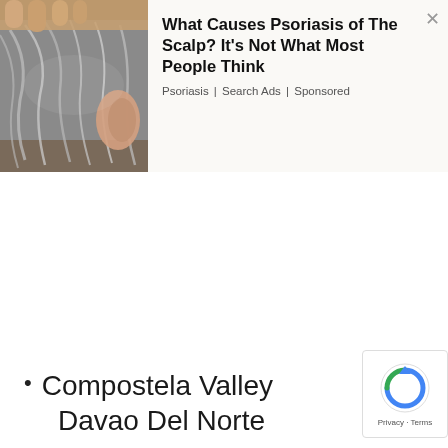[Figure (photo): Advertisement banner showing a close-up photo of hands touching a person's scalp with grey hair, alongside ad text about scalp psoriasis]
What Causes Psoriasis of The Scalp? It's Not What Most People Think
Psoriasis | Search Ads | Sponsored
Compostela Valley
Davao Del Norte